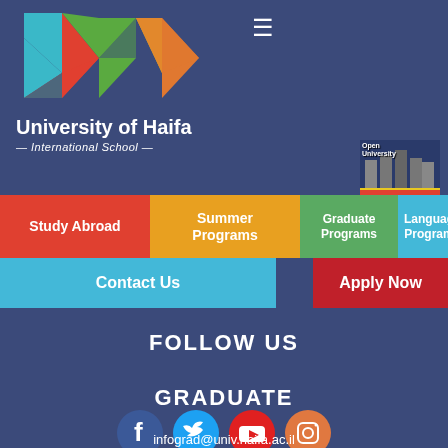[Figure (logo): University of Haifa International School colorful logo with overlapping diamond/chevron shapes in teal, red, green, yellow, and orange]
University of Haifa
— International School —
[Figure (other): Hamburger menu icon (three horizontal lines)]
[Figure (other): Open University building image thumbnail on right side]
Study Abroad
Summer Programs
Graduate Programs
Language Programs
Contact Us
Apply Now
FOLLOW US
GRADUATE
[Figure (other): Social media icons: Facebook, Twitter, YouTube, Instagram]
infograd@univ.haifa.ac.il